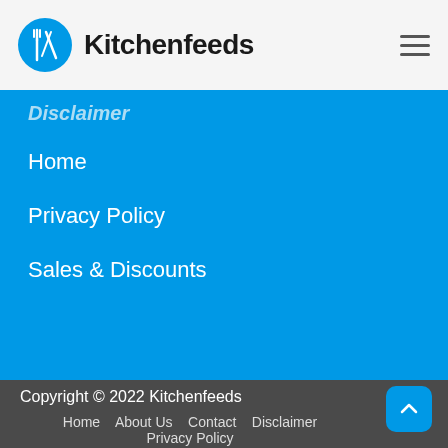Kitchenfeeds
Disclaimer
Home
Privacy Policy
Sales & Discounts
Copyright © 2022 Kitchenfeeds
Home   About Us   Contact   Disclaimer   Privacy Policy